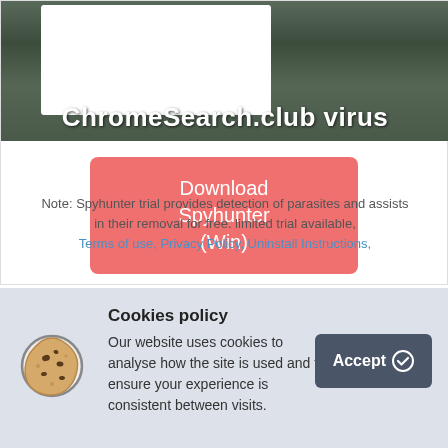[Figure (screenshot): Screenshot showing ChromeSearch.club virus hero image with browser window mockup on stone/grass background with bold white title text]
[Figure (other): Red/salmon colored download button reading 'Download Spyhunter (Win)']
Note: Spyhunter trial provides detection of parasites and assists in their removal for free. limited trial available, Terms of use, Privacy Policy, Uninstall Instructions,
Cookies policy
Our website uses cookies to analyse how the site is used and to ensure your experience is consistent between visits.